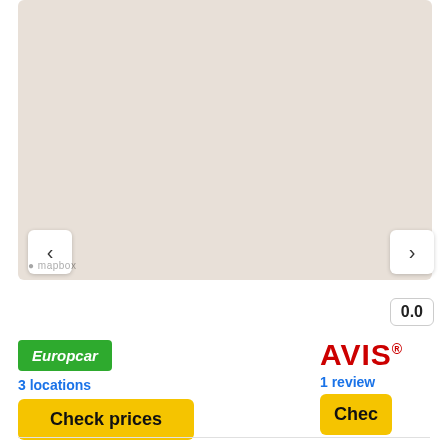[Figure (map): Map area with beige/tan background, showing a navigation map (Mapbox). Left and right navigation arrow buttons are visible at the bottom corners of the map. Mapbox watermark text visible at bottom left.]
0.0
Europcar
3 locations
Check prices
AVIS
1 review
Chec